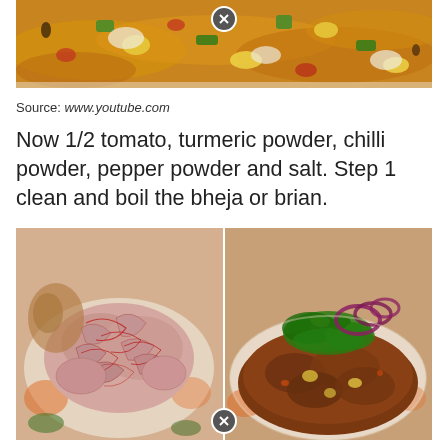[Figure (photo): Top photo of cooked brain/egg curry dish in orange sauce with green peppers and vegetables, with a close/remove button overlay at top center]
Source: www.youtube.com
Now 1/2 tomato, turmeric powder, chilli powder, pepper powder and salt. Step 1 clean and boil the bheja or brian.
[Figure (photo): Two side-by-side photos: left shows raw animal brain with red veins on a plate with garnish; right shows cooked brain masala dish on a plate garnished with cilantro and red onion rings. A close/remove button at bottom center.]